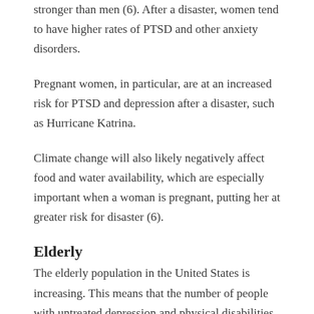stronger than men (6). After a disaster, women tend to have higher rates of PTSD and other anxiety disorders.
Pregnant women, in particular, are at an increased risk for PTSD and depression after a disaster, such as Hurricane Katrina.
Climate change will also likely negatively affect food and water availability, which are especially important when a woman is pregnant, putting her at greater risk for disaster (6).
Elderly
The elderly population in the United States is increasing. This means that the number of people with untreated depression and physical disabilities is also increasing,